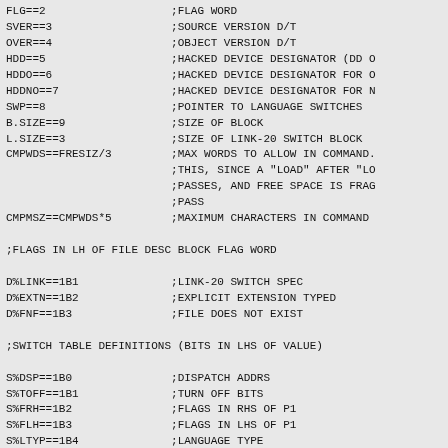FLG==2                   ;FLAG WORD
SVER==3                  ;SOURCE VERSION D/T
OVER==4                  ;OBJECT VERSION D/T
HDD==5                   ;HACKED DEVICE DESIGNATOR (DD O
HDDO==6                  ;HACKED DEVICE DESIGNATOR FOR O
HDDNO==7                 ;HACKED DEVICE DESIGNATOR FOR N
SWP==8                   ;POINTER TO LANGUAGE SWITCHES
B.SIZE==9                ;SIZE OF BLOCK
L.SIZE==3                ;SIZE OF LINK-20 SWITCH BLOCK
CMPWDS==FRESIZ/3         ;MAX WORDS TO ALLOW IN COMMAND.
                         ;THIS, SINCE A "LOAD" AFTER "LO
                         ;PASSES, AND FREE SPACE IS FRAG
                         ;PASS
CMPMSZ==CMPWDS*5         ;MAXIMUM CHARACTERS IN COMMAND

;FLAGS IN LH OF FILE DESC BLOCK FLAG WORD

D%LINK==1B1              ;LINK-20 SWITCH SPEC
D%EXTN==1B2              ;EXPLICIT EXTENSION TYPED
D%FNF==1B3               ;FILE DOES NOT EXIST

;SWITCH TABLE DEFINITIONS (BITS IN LHS OF VALUE)

S%DSP==1B0               ;DISPATCH ADDRS
S%TOFF==1B1              ;TURN OFF BITS
S%FRH==1B2               ;FLAGS IN RHS OF P1
S%FLH==1B3               ;FLAGS IN LHS OF P1
S%LTYP==1B4              ;LANGUAGE TYPE
S%LINK==1B6              ;LINK-20 SWITCH TEXT
S%VAL==1B7               ;VALUE ALLOWED
S%QUO==1B8               ;SWITCH TAKES QUOTED STRING A